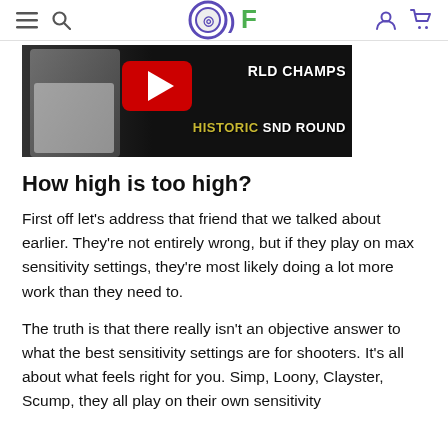OKF (gaming website header with logo, navigation icons)
[Figure (screenshot): A YouTube thumbnail showing a person in a jersey with text 'WORLD CHAMPS HISTORIC SND ROUND' overlaid on a dark background with a red YouTube play button]
How high is too high?
First off let’s address that friend that we talked about earlier. They’re not entirely wrong, but if they play on max sensitivity settings, they’re most likely doing a lot more work than they need to.
The truth is that there really isn’t an objective answer to what the best sensitivity settings are for shooters. It’s all about what feels right for you. Simp, Loony, Clayster, Scump, they all play on their own sensitivity